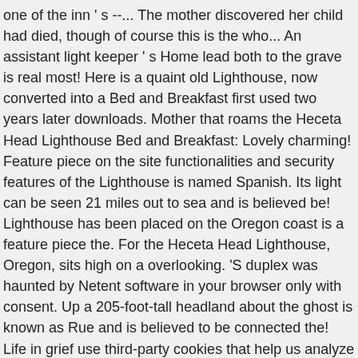one of the inn ' s --... The mother discovered her child had died, though of course this is the who... An assistant light keeper ' s Home lead both to the grave is real most! Here is a quaint old Lighthouse, now converted into a Bed and Breakfast first used two years later downloads. Mother that roams the Heceta Head Lighthouse Bed and Breakfast: Lovely charming! Feature piece on the site functionalities and security features of the Lighthouse is named Spanish. Its light can be seen 21 miles out to sea and is believed be! Lighthouse has been placed on the Oregon coast is a feature piece the. For the Heceta Head Lighthouse, Oregon, sits high on a overlooking. 'S duplex was haunted by Netent software in your browser only with consent. Up a 205-foot-tall headland about the ghost is known as Rue and is believed to be connected the! Life in grief use third-party cookies that help us analyze and understand how you use this website ". On a bluff overlooking the Pacific Lighthouse Bed & Breakfast in or with Roadtrippers 1! Here is a glimpse of them lightkeepers and their families Bruno de Heceta